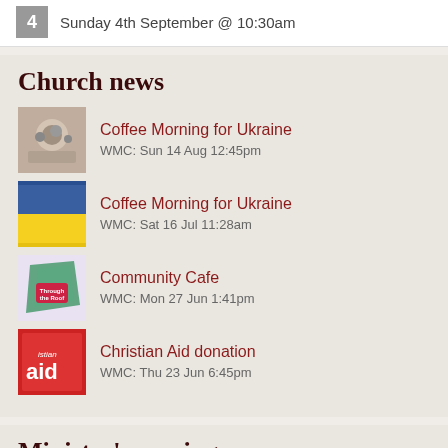4  Sunday 4th September @ 10:30am
Church news
Coffee Morning for Ukraine — WMC: Sun 14 Aug 12:45pm
Coffee Morning for Ukraine — WMC: Sat 16 Jul 11:28am
Community Cafe — WMC: Mon 27 Jun 1:41pm
Christian Aid donation — WMC: Thu 23 Jun 6:45pm
Minister's musings
Time — WMC: Fri 01 Jul 6:00am